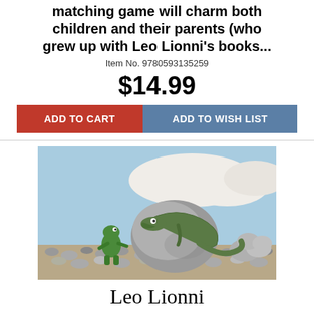matching game will charm both children and their parents (who grew up with Leo Lionni's books...
Item No. 9780593135259
$14.99
ADD TO CART
ADD TO WISH LIST
[Figure (illustration): Illustration from a Leo Lionni book showing a small green frog-like character standing next to a large gray rock, with a green lizard/crocodile draped over the rock. Rocky pebble ground, blue sky with white cloud in the background.]
Leo Lionni Postcard -